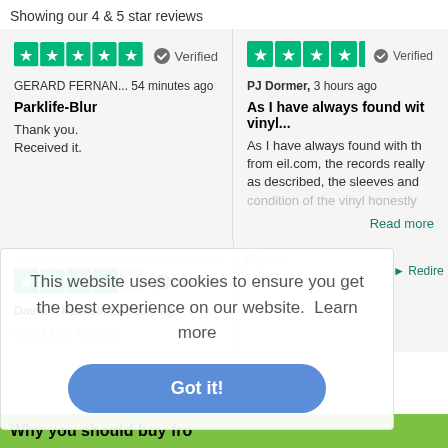Showing our 4 & 5 star reviews
[Figure (screenshot): Trustpilot 5-star rating widget with green stars and Verified badge for GERARD FERNAN... review]
GERARD FERNAN... 54 minutes ago
Parklife-Blur
Thank you.
Received it.
[Figure (screenshot): Trustpilot 5-star rating widget with green stars and Verified badge for PJ Dormer review]
PJ Dormer, 3 hours ago
As I have always found wit vinyl...
As I have always found with th from eil.com, the records really as described, the sleeves and condition of the vinyl honestly
Read more
[Figure (screenshot): Trustpilot 4-star rating widget with green stars and Verified badge for David P Haskell review]
David P Haskell, 12 hours ago
Good job. Thanks.
This website uses cookies to ensure you get the best experience on our website.  Learn more
Got it!
▶ Redire
16 hours
& Selec
Why you should buy fro